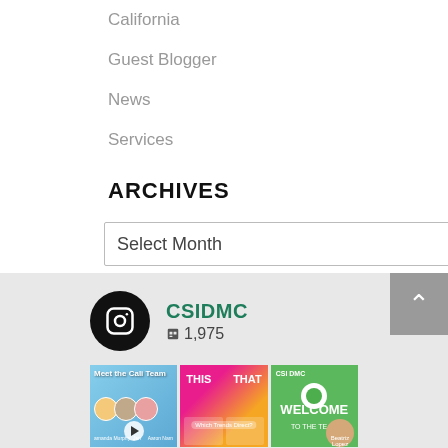California
Guest Blogger
News
Services
ARCHIVES
Select Month
[Figure (screenshot): Instagram profile widget showing CSIDMC account with 1,975 posts, and three preview image tiles below]
CSIDMC
1,975